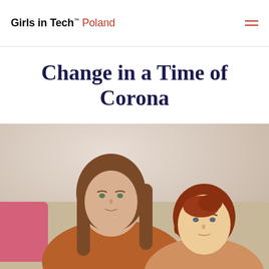Girls in Tech™ Poland
Change in a Time of Corona
[Figure (photo): A woman with long brown hair wearing an orange shirt sits on a couch next to a red-haired young boy. Both are looking at the camera. There is a pink pillow visible on the left side of the couch.]